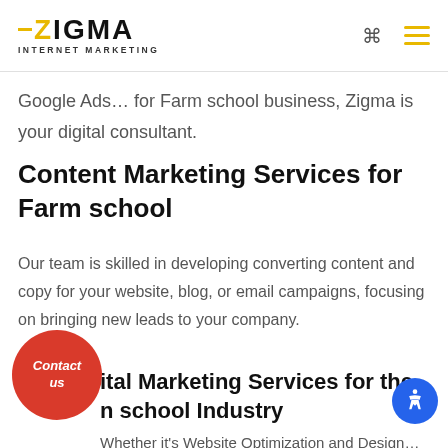ZIGMA INTERNET MARKETING
Google Ads… for Farm school business, Zigma is your digital consultant.
Content Marketing Services for Farm school
Our team is skilled in developing converting content and copy for your website, blog, or email campaigns, focusing on bringing new leads to your company.
Digital Marketing Services for the Farm school Industry
Whether it's Website Optimization and Design…